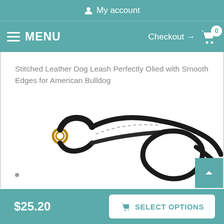My account
MENU  Checkout → 0
Stitched Leather Dog Leash Perfectly Olied with Smooth Edges for American Bulldog
[Figure (photo): A black stitched leather dog leash coiled with a gold O-ring clasp visible on the left end, photographed on a white background.]
$25.20
SELECT OPTIONS